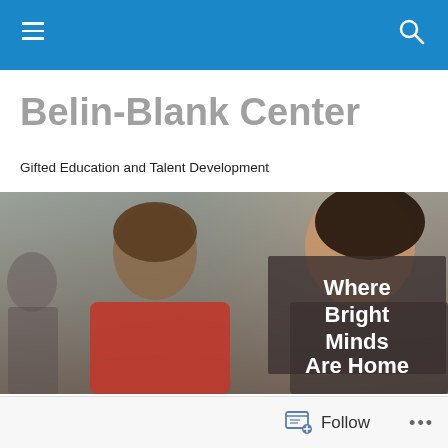Belin-Blank Center navigation bar
Belin-Blank Center
Gifted Education and Talent Development
[Figure (photo): Two students (a boy in a red shirt and a girl) looking down at something, with overlaid text 'Where Bright Minds Are Home' on a semi-transparent dark background]
Follow ...